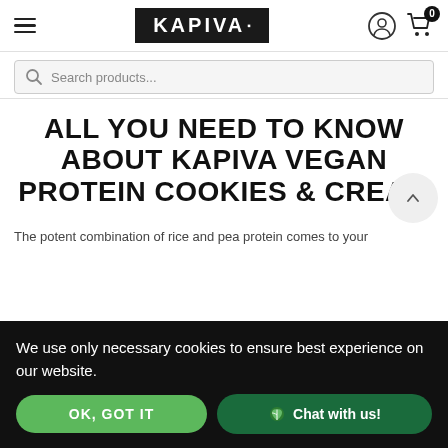KAPIVA
[Figure (screenshot): Search bar with magnifying glass icon and placeholder text 'Search products...']
ALL YOU NEED TO KNOW ABOUT KAPIVA VEGAN PROTEIN COOKIES & CREAM
The potent combination of rice and pea protein comes to your
We use only necessary cookies to ensure best experience on our website.
OK, GOT IT   Chat with us!